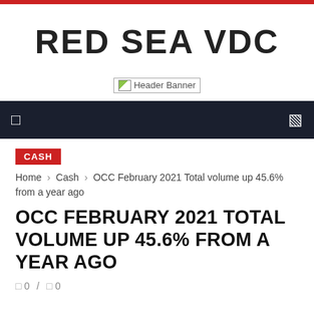RED SEA VDC
[Figure (other): Header Banner placeholder image]
CASH
Home › Cash › OCC February 2021 Total volume up 45.6% from a year ago
OCC FEBRUARY 2021 TOTAL VOLUME UP 45.6% FROM A YEAR AGO
0 / 0